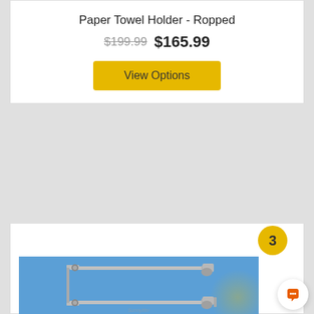Paper Towel Holder - Ropped
$199.99  $165.99
View Options
3
[Figure (photo): A chrome double towel bar / paper towel holder mounted on a blue wall background. The holder has two horizontal rails supported by a back bracket on the left and a wall mount on the right.]